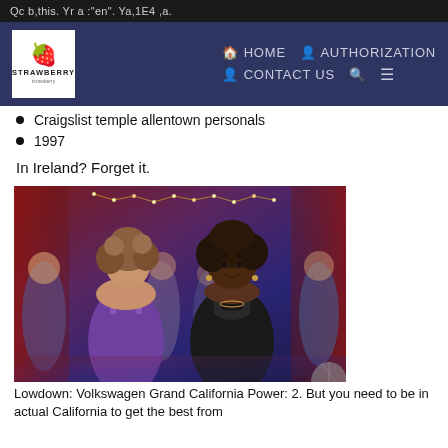Qc b,this. Yr a :"en". Ya,1E4 ,a.
[Figure (screenshot): Website navigation bar with Strawberry logo and links: HOME, AUTHORIZATION, CONTACT US, search icon, menu icon]
Craigslist temple allentown personals
1997
In Ireland? Forget it.
[Figure (photo): Photo of people at a party or event. A woman in a black dress looks toward the camera; another woman in a purple dress has her back turned. Christmas lights and red curtains visible in background.]
Lowdown: Volkswagen Grand California Power: 2. But you need to be in actual California to get the best from